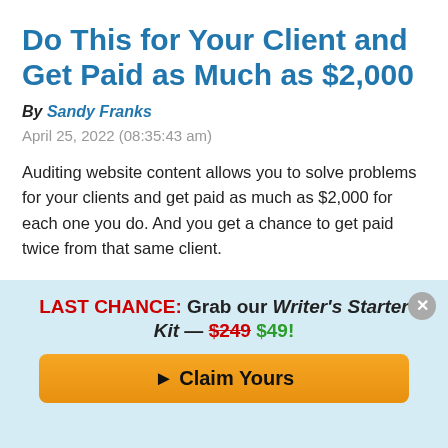Do This for Your Client and Get Paid as Much as $2,000
By Sandy Franks
April 25, 2022 (08:35:43 am)
Auditing website content allows you to solve problems for your clients and get paid as much as $2,000 for each one you do. And you get a chance to get paid twice from that same client.
LAST CHANCE: Grab our Writer's Starter Kit — $249 $49!
▶ Claim Yours